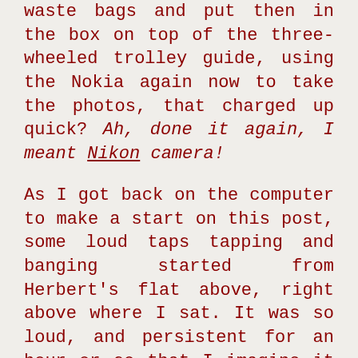waste bags and put then in the box on top of the three-wheeled trolley guide, using the Nokia again now to take the photos, that charged up quick? Ah, done it again, I meant Nikon camera!
As I got back on the computer to make a start on this post, some loud taps tapping and banging started from Herbert's flat above, right above where I sat. It was so loud, and persistent for an hour or so that I imagine it would be some repairs being done for him. Or, he might have been making a real life-size train for his charity? Hahaha!